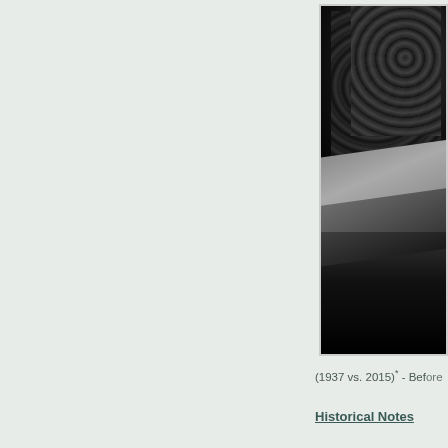[Figure (photo): Black and white historical photograph showing a concrete structure or dam with dense vegetation/trees in the background, partially cropped on the right side of the page. The image shows what appears to be a sloped concrete surface with water or dark ground below.]
(1937 vs. 2015)* - Before
Historical Notes